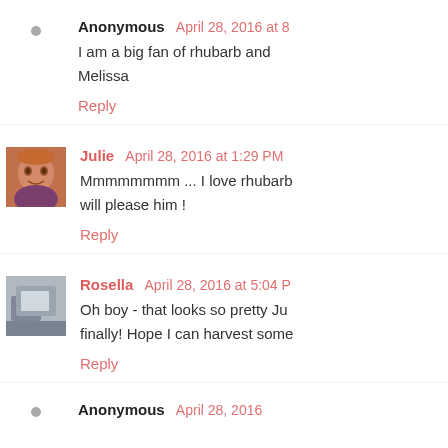Anonymous April 28, 2016 at 8:...
I am a big fan of rhubarb and...
Melissa
Reply
Julie April 28, 2016 at 1:29 PM
Mmmmmmmm ... I love rhubarb... will please him !
Reply
Rosella April 28, 2016 at 5:04 P...
Oh boy - that looks so pretty Ju... finally! Hope I can harvest some...
Reply
Anonymous April 28, 2016...